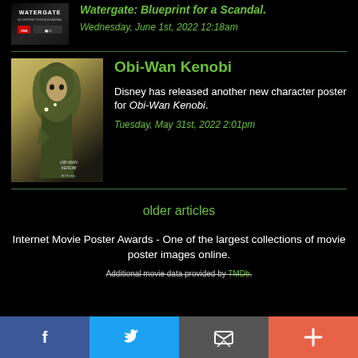[Figure (photo): Watergate: Blueprint for a Scandal movie/show poster thumbnail]
Watergate: Blueprint for a Scandal.
Wednesday, June 1st, 2022 12:18am
[Figure (photo): Obi-Wan Kenobi character poster showing a child in robes holding glowing orbs]
Obi-Wan Kenobi
Disney has released another new character poster for Obi-Wan Kenobi.
Tuesday, May 31st, 2022 2:01pm
older articles
Internet Movie Poster Awards - One of the largest collections of movie poster images online.
Additional movie data provided by TMDb.